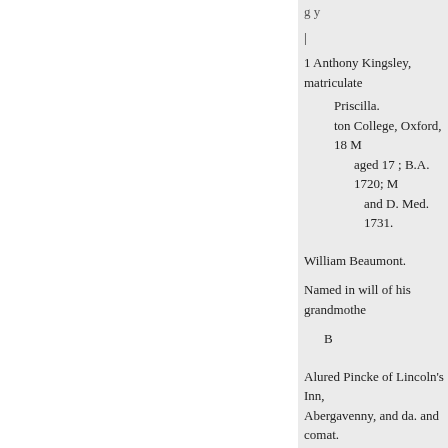1 Anthony Kingsley, matriculate
Priscilla.
ton College, Oxford, 18 M
aged 17 ; B.A. 1720; M
and D. Med. 1731.
William Beaumont.
Named in will of his grandmothe
B
Alured Pincke of Lincoln's Inn, Abergavenny, and da. and comat. Colonel Edward Thornycroft of t inherited lands at Mary, da. of Si Essex, under his mother's will ; b for Kent); ham High Cross 6 Dec at Tottenham High Cross 12 175- 26 October 1770 ; proved in P.C.